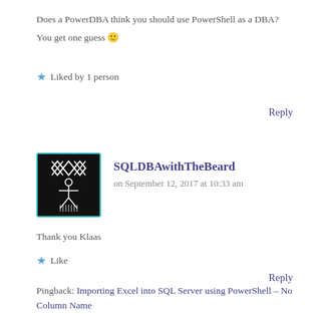Does a PowerDBA think you should use PowerShell as a DBA?
You get one guess 🙂
★ Liked by 1 person
Reply
[Figure (illustration): Avatar image of SQLDBAwithTheBeard — black background with white geometric diamond/cross pattern and stylized figure]
SQLDBAwithTheBeard
on September 12, 2017 at 10:33 am
Thank you Klaas
★ Like
Reply
Pingback: Importing Excel into SQL Server using PowerShell – No Column Name